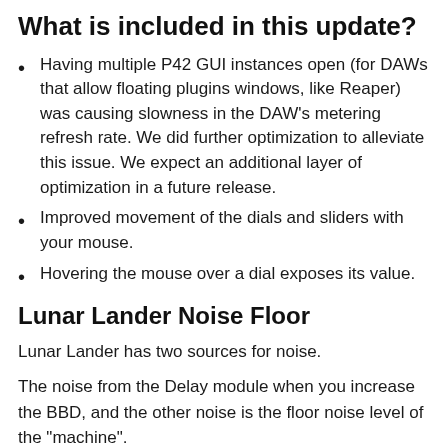What is included in this update?
Having multiple P42 GUI instances open (for DAWs that allow floating plugins windows, like Reaper) was causing slowness in the DAW’s metering refresh rate. We did further optimization to alleviate this issue. We expect an additional layer of optimization in a future release.
Improved movement of the dials and sliders with your mouse.
Hovering the mouse over a dial exposes its value.
Lunar Lander Noise Floor
Lunar Lander has two sources for noise.
The noise from the Delay module when you increase the BBD, and the other noise is the floor noise level of the “machine”.